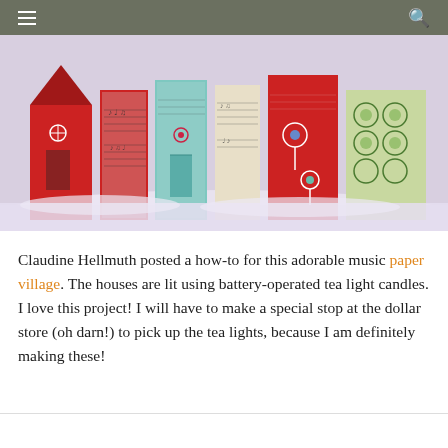≡  🔍
[Figure (photo): Colorful paper houses resembling a small village, decorated with music sheet patterns and illustrated designs, standing in artificial snow. Houses are red, teal, and patterned with green circles; some have drawn flowers and doors. Background is white snowy scene.]
Claudine Hellmuth posted a how-to for this adorable music paper village. The houses are lit using battery-operated tea light candles. I love this project! I will have to make a special stop at the dollar store (oh darn!) to pick up the tea lights, because I am definitely making these!